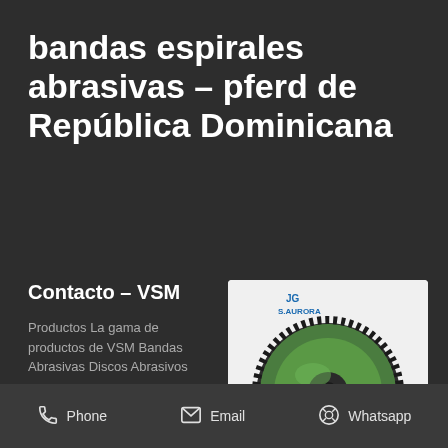bandas espirales abrasivas – pferd de República Dominicana
Contacto – VSM
Productos La gama de productos de VSM Bandas Abrasivas Discos Abrasivos
[Figure (photo): Abrasive disc product photo with S.AURORA logo on white background]
Contacto VSM – We
Phone  Email  Whatsapp